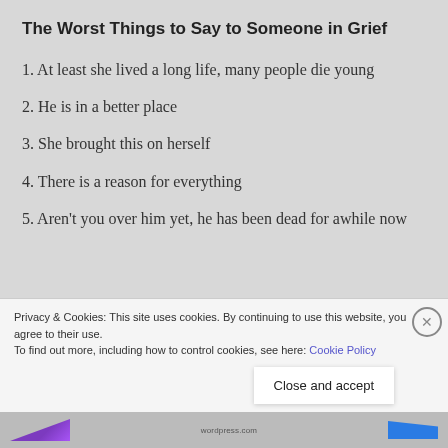The Worst Things to Say to Someone in Grief
1. At least she lived a long life, many people die young
2. He is in a better place
3. She brought this on herself
4. There is a reason for everything
5. Aren't you over him yet, he has been dead for awhile now
Privacy & Cookies: This site uses cookies. By continuing to use this website, you agree to their use. To find out more, including how to control cookies, see here: Cookie Policy
Close and accept